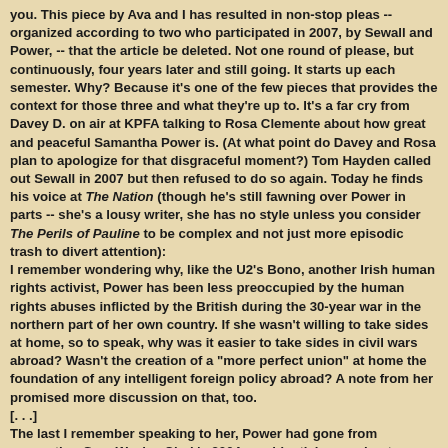you. This piece by Ava and I has resulted in non-stop pleas -- organized according to two who participated in 2007, by Sewall and Power, -- that the article be deleted. Not one round of please, but continuously, four years later and still going. It starts up each semester. Why? Because it's one of the few pieces that provides the context for those three and what they're up to. It's a far cry from Davey D. on air at KPFA talking to Rosa Clemente about how great and peaceful Samantha Power is. (At what point do Davey and Rosa plan to apologize for that disgraceful moment?) Tom Hayden called out Sewall in 2007 but then refused to do so again. Today he finds his voice at The Nation (though he's still fawning over Power in parts -- she's a lousy writer, she has no style unless you consider The Perils of Pauline to be complex and not just more episodic trash to divert attention): I remember wondering why, like the U2's Bono, another Irish human rights activist, Power has been less preoccupied by the human rights abuses inflicted by the British during the 30-year war in the northern part of her own country. If she wasn't willing to take sides at home, so to speak, why was it easier to take sides in civil wars abroad? Wasn't the creation of a "more perfect union" at home the foundation of any intelligent foreign policy abroad? A note from her promised more discussion on that, too. [. . .] The last I remember speaking to her, Power had gone from supporting Gen. Wesley Clark's 2004 presidential campaign to volunteering in the Washington office of a new US Senator, Barack Obama, I recall, at that campus meeting she...